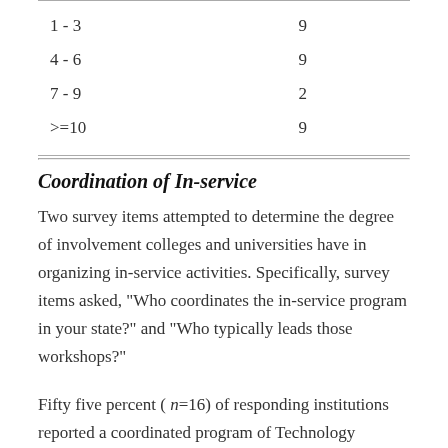|  |  |
| --- | --- |
| 1 - 3 | 9 |
| 4 - 6 | 9 |
| 7 - 9 | 2 |
| >=10 | 9 |
Coordination of In-service
Two survey items attempted to determine the degree of involvement colleges and universities have in organizing in-service activities. Specifically, survey items asked, "Who coordinates the in-service program in your state?" and "Who typically leads those workshops?"
Fifty five percent ( n=16) of responding institutions reported a coordinated program of Technology